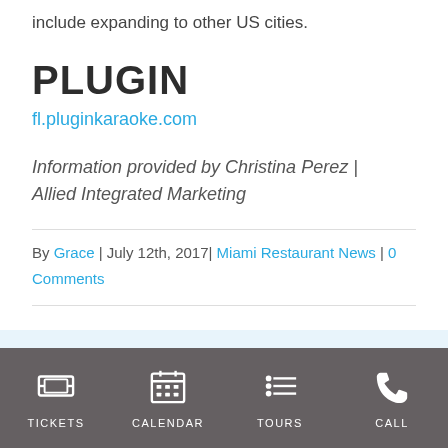include expanding to other US cities.
PLUGIN
fl.pluginkaraoke.com
Information provided by Christina Perez | Allied Integrated Marketing
By Grace | July 12th, 2017 | Miami Restaurant News | 0 Comments
TICKETS  CALENDAR  TOURS  CALL